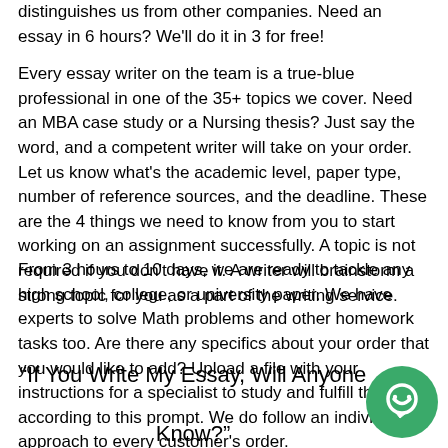distinguishes us from other companies. Need an essay in 6 hours? We'll do it in 3 for free!
Every essay writer on the team is a true-blue professional in one of the 35+ topics we cover. Need an MBA case study or a Nursing thesis? Just say the word, and a competent writer will take on your order. Let us know what's the academic level, paper type, number of reference sources, and the deadline. These are the 4 things we need to know from you to start working on an assignment successfully. A topic is not required if you don't have it. A writer will brainstorm a strong topic for you as a part of the writing service.
From 3 hours to 10 days, we are ready to tackle any high school, college, or university paper. We have experts to solve Math problems and other homework tasks too. Are there any specifics about your order that you would like to add? Upload a file with your instructions for a specialist to study and fulfill the order according to this prompt. We do follow an individual approach to every customer's order.
“If You Write My Essay, Will Anyone Know?”